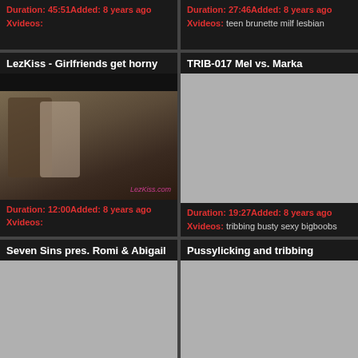Duration: 45:51Added: 8 years ago
Xvideos:
Duration: 27:46Added: 8 years ago
Xvideos: teen brunette milf lesbian
LezKiss - Girlfriends get horny
[Figure (photo): Video thumbnail showing two women kissing, one brunette and one blonde, with LezKiss.com watermark]
Duration: 12:00Added: 8 years ago
Xvideos:
TRIB-017 Mel vs. Marka
[Figure (photo): Gray placeholder thumbnail for TRIB-017 video]
Duration: 19:27Added: 8 years ago
Xvideos: tribbing busty sexy bigboobs
Seven Sins pres. Romi & Abigail
Pussylicking and tribbing
[Figure (photo): Gray placeholder thumbnail for Seven Sins video]
[Figure (photo): Gray placeholder thumbnail for Pussylicking video]